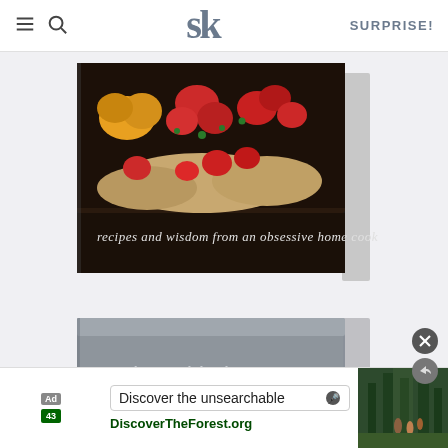SK logo navigation with hamburger menu, search icon, smitten kitchen logo, and SURPRISE! link
[Figure (photo): Cookbook cover showing colorful tomatoes and food on dark background with text 'recipes and wisdom from an obsessive home cook' in script font]
[Figure (photo): Second cookbook cover 'smitten kitchen EVERY DAY' with grey cover, text partially visible]
[Figure (other): Advertisement banner: 'Discover the unsearchable' with DiscoverTheForest.org, showing hikers in forest, with Ad and USDA badges]